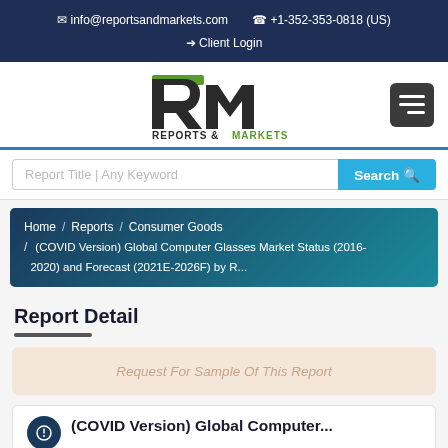✉ info@reportsandmarkets.com  ✆ +1-352-353-0818 (US)  ➔ Client Login
[Figure (logo): Reports & Markets logo — RM initials with green accent and dark text, plus hamburger menu button]
Report Title | Any Keyword  Search
Home / Reports / Consumer Goods / (COVID Version) Global Computer Glasses Market Status (2016-2020) and Forecast (2021E-2026F) by R...
Report Detail
Request For Sample Of This Report
(COVID Version) Global Computer...